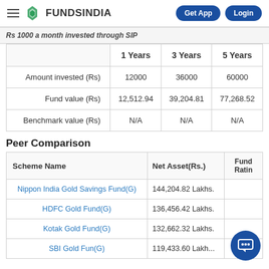FUNDSINDIA — Get App | Login
Rs 1000 a month invested through SIP
|  | 1 Years | 3 Years | 5 Years |
| --- | --- | --- | --- |
| Amount invested (Rs) | 12000 | 36000 | 60000 |
| Fund value (Rs) | 12,512.94 | 39,204.81 | 77,268.52 |
| Benchmark value (Rs) | N/A | N/A | N/A |
Peer Comparison
| Scheme Name | Net Asset(Rs.) | Fund Rating |
| --- | --- | --- |
| Nippon India Gold Savings Fund(G) | 144,204.82 Lakhs. |  |
| HDFC Gold Fund(G) | 136,456.42 Lakhs. |  |
| Kotak Gold Fund(G) | 132,662.32 Lakhs. |  |
| SBI Gold Fund(G) | 119,433.60 Lakhs. |  |